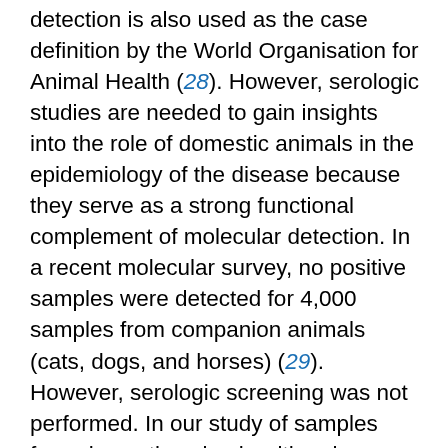detection is also used as the case definition by the World Organisation for Animal Health (28). However, serologic studies are needed to gain insights into the role of domestic animals in the epidemiology of the disease because they serve as a strong functional complement of molecular detection. In a recent molecular survey, no positive samples were detected for 4,000 samples from companion animals (cats, dogs, and horses) (29). However, serologic screening was not performed. In our study of samples from domestic animals with unknown SARS-CoV-2 exposure, we determined seroprevalences for SARS-CoV-2 of 0.4% for cats and 0.2% for dogs, which is lower than the prevalence rate of endemic coronaviruses, such as FCoV and CCoV, and also lower than the seroprevalence estimate in human populations in the Netherlands (2.7%–9.5%) at the period of sample collection (30,31). In our study, we